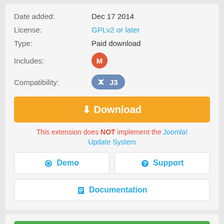Date added: Dec 17 2014
License: GPLv2 or later
Type: Paid download
Includes: M (badge)
Compatibility: J3
Download (button)
This extension does NOT implement the Joomla! Update System
Demo
Support
Documentation
Be the first to write a review